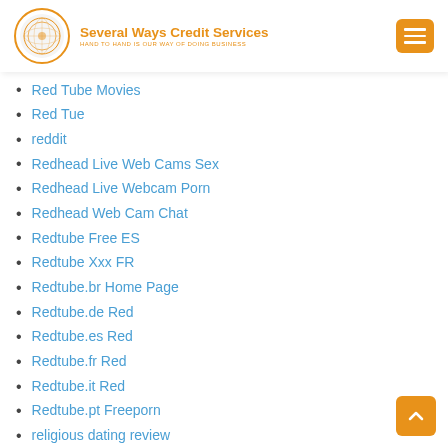Several Ways Credit Services — HAND TO HAND IS OUR WAY OF DOING BUSINESS
Red Tube Movies
Red Tue
reddit
Redhead Live Web Cams Sex
Redhead Live Webcam Porn
Redhead Web Cam Chat
Redtube Free ES
Redtube Xxx FR
Redtube.br Home Page
Redtube.de Red
Redtube.es Red
Redtube.fr Red
Redtube.it Red
Redtube.pt Freeporn
religious dating review
requirements for a payday loan
Research Essay
Retro Games Online
reveal sito di incontri